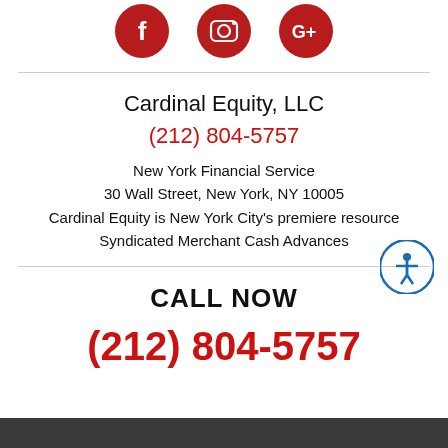[Figure (other): Three red circular social media icons: Facebook (f), Instagram (camera), and Google+ (G+)]
Cardinal Equity, LLC
(212) 804-5757
New York Financial Service
30 Wall Street, New York, NY 10005
Cardinal Equity is New York City's premiere resource
Syndicated Merchant Cash Advances
CALL NOW
(212) 804-5757